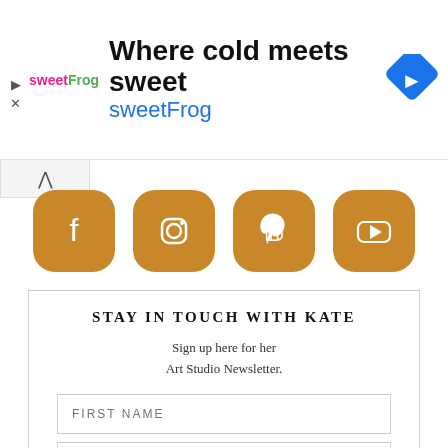[Figure (other): SweetFrog advertisement banner with logo, tagline 'Where cold meets sweet', brand name 'sweetFrog', and a blue navigation arrow icon]
[Figure (other): Row of four golden rounded-square social media icons: Facebook, Instagram, Pinterest, YouTube]
STAY IN TOUCH WITH KATE
Sign up here for her Art Studio Newsletter.
FIRST NAME
E-MAIL ADDRESS